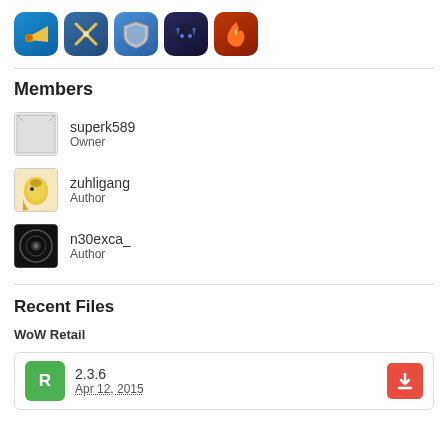[Figure (illustration): Row of 5 game app icons: blue horn/speaker icon, crossed swords icon, shield icon, dark monster/helmet icon, fire/leaves icon]
Members
superk589 Owner
zuhligang Author
n30exca_ Author
Recent Files
WoW Retail
2.3.6 Apr 12, 2015